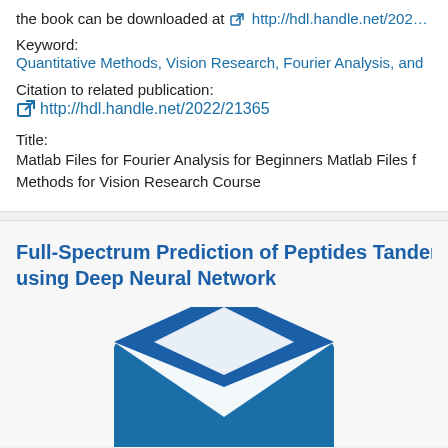the book can be downloaded at http://hdl.handle.net/202…
Keyword:
Quantitative Methods, Vision Research, Fourier Analysis, and…
Citation to related publication:
http://hdl.handle.net/2022/21365
Title:
Matlab Files for Fourier Analysis for Beginners Matlab Files for Methods for Vision Research Course
Full-Spectrum Prediction of Peptides Tandem Ma… using Deep Neural Network
[Figure (illustration): Open envelope icon in blue, partially visible at bottom of page]